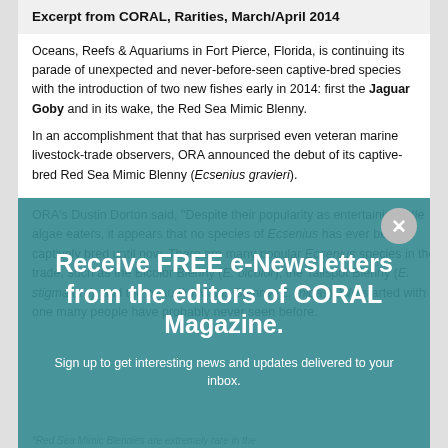Excerpt from CORAL, Rarities, March/April 2014
Oceans, Reefs & Aquariums in Fort Pierce, Florida, is continuing its parade of unexpected and never-before-seen captive-bred species with the introduction of two new fishes early in 2014: first the Jaguar Goby and in its wake, the Red Sea Mimic Blenny.
In an accomplishment that that has surprised even veteran marine livestock-trade observers, ORA announced the debut of its captive-bred Red Sea Mimic Blenny (Ecsenius gravieri).
[Figure (infographic): Teal-colored popup overlay with white text reading 'Receive FREE e-Newsletters from the editors of CORAL Magazine.' and subtext 'Sign up to get interesting news and updates delivered to your inbox.' with a close button (X) in upper right corner and a downward-pointing arrow at the bottom.]
ORA's Dustin Dorton said, "Despite their popularity as entertaining little algae eaters, it appears that no species of Ecsenius has ever been captively bred until now. There are many popular Ecsenius species in the trade, such as the Bicolor Blenny (E. bicolor), the Tailspot Blenny (E. stigmatura), and the beautiful Midas Blenny (E. midas). We started with one many people have probably never seen before.
*Red Sea Mimic Blennies are extremely rare in the